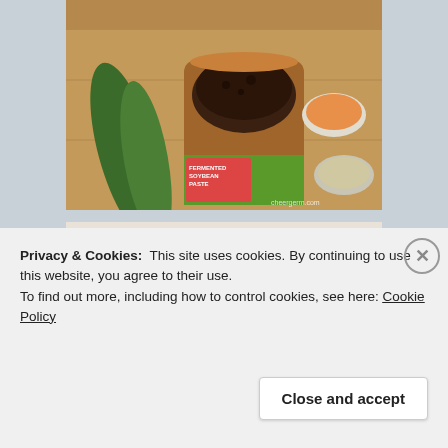[Figure (photo): Photo of a jar of fermented soybean paste (doenjang/miso) open with dark paste inside, next to green peppers and small bowls of spices on a wooden cutting board. Watermark: cheergerm.com]
[Figure (photo): Photo of an onion, garlic head, and fresh herbs (cilantro/coriander) on a book or background with text 'Charmaine...' partially visible.]
Privacy & Cookies:  This site uses cookies. By continuing to use this website, you agree to their use.
To find out more, including how to control cookies, see here: Cookie Policy
Close and accept